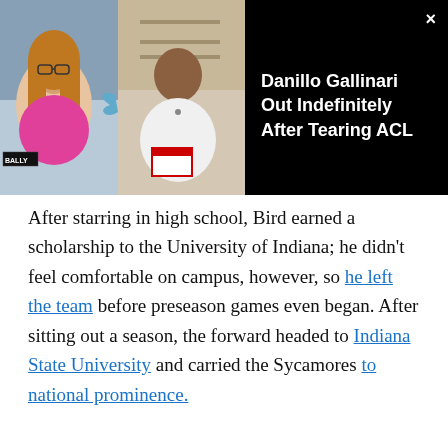[Figure (screenshot): Video overlay showing two TV hosts on a sports show with Bally logo. Dark panel on right shows title 'Danillo Gallinari Out Indefinitely After Tearing ACL' with a close button (×).]
After starring in high school, Bird earned a scholarship to the University of Indiana; he didn't feel comfortable on campus, however, so he left the team before preseason games even began. After sitting out a season, the forward headed to Indiana State University and carried the Sycamores to national prominence.
On the back of Bird's collegiate success, the Boston Celtics...